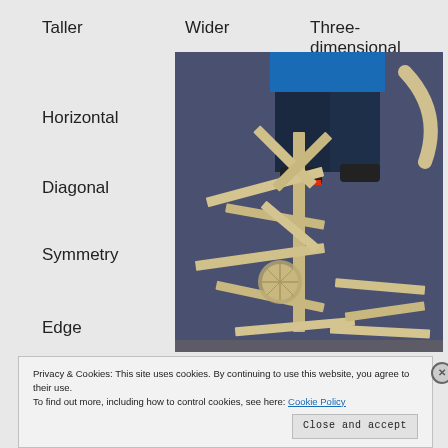Taller
Wider
Three-dimensional
[Figure (photo): Child with wooden building blocks scattered on a blue carpet, holding a curved block, with various rectangular and arched wooden pieces arranged around them.]
Horizontal
Diagonal
Symmetry
Edge
Privacy & Cookies: This site uses cookies. By continuing to use this website, you agree to their use.
To find out more, including how to control cookies, see here: Cookie Policy